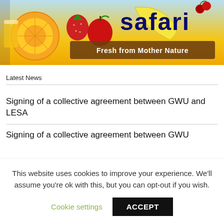[Figure (illustration): Safari juice brand advertisement showing colorful fruits (orange slice, strawberries, apple, banana) with a glass of juice and text 'safari' in dark blue and 'Fresh from Mother Nature' on a brown banner, bright yellow/orange background.]
Latest News
Signing of a collective agreement between GWU and LESA
Signing of a collective agreement between GWU
This website uses cookies to improve your experience. We'll assume you're ok with this, but you can opt-out if you wish.